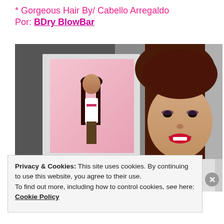* Gorgeous Hair By/ Cabello Arregaldo Por: BDry BlowBar
[Figure (photo): A smiling woman with long auburn/dark-red hair posing in front of a framed Polaroid-style photo of a model. The framed photo is labeled 'Haute Frugalista'. The photo is taken in what appears to be a hair salon or boutique.]
Privacy & Cookies: This site uses cookies. By continuing to use this website, you agree to their use.
To find out more, including how to control cookies, see here: Cookie Policy
Close and accept